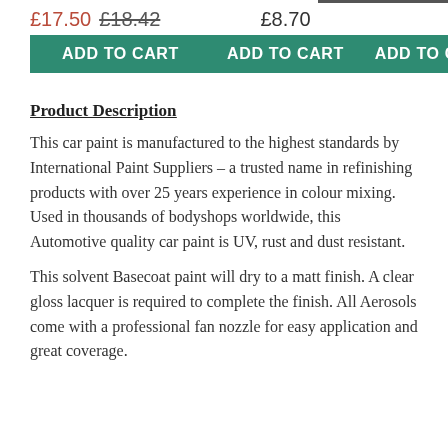£17.50  £18.42
ADD TO CART
£8.70
ADD TO CART
£8.94
ADD TO CART
Product Description
This car paint is manufactured to the highest standards by International Paint Suppliers – a trusted name in refinishing products with over 25 years experience in colour mixing. Used in thousands of bodyshops worldwide, this Automotive quality car paint is UV, rust and dust resistant.
This solvent Basecoat paint will dry to a matt finish. A clear gloss lacquer is required to complete the finish. All Aerosols come with a professional fan nozzle for easy application and great coverage.